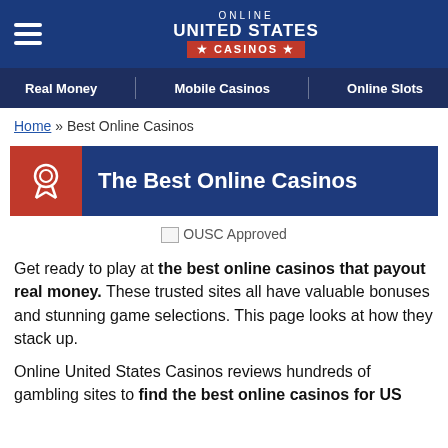ONLINE UNITED STATES CASINOS
Real Money | Mobile Casinos | Online Slots
Home » Best Online Casinos
The Best Online Casinos
[Figure (logo): OUSC Approved badge/image]
Get ready to play at the best online casinos that payout real money. These trusted sites all have valuable bonuses and stunning game selections. This page looks at how they stack up.
Online United States Casinos reviews hundreds of gambling sites to find the best online casinos for US